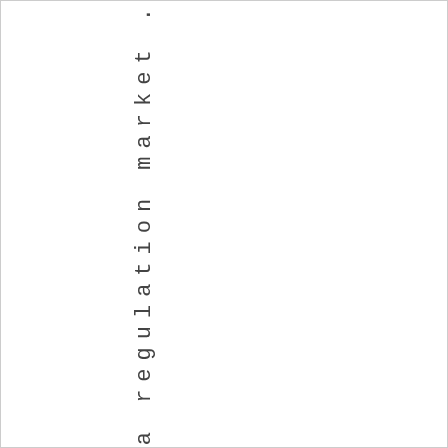: This is a regulation market .